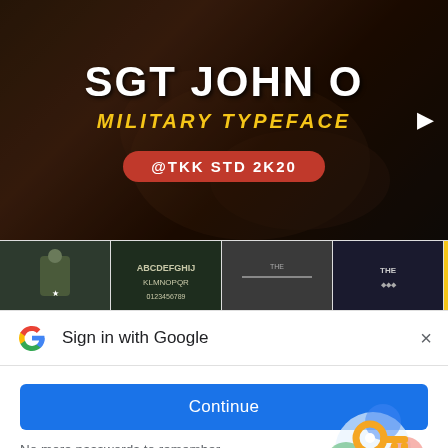[Figure (screenshot): Military typeface font product banner with dark background showing text 'SGT JOHN O', 'MILITARY TYPEFACE' in yellow, '@TKK STD 2K20' in red pill badge. Thumbnail strip below with font preview thumbnails.]
Sign in with Google
Use your Google Account to sign in to creativefabrica.com
No more passwords to remember.
Signing in is fast, simple and secure.
Continue